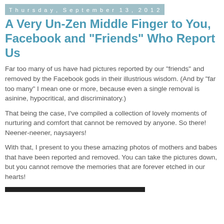Thursday, September 13, 2012
A Very Un-Zen Middle Finger to You, Facebook and "Friends" Who Report Us
Far too many of us have had pictures reported by our "friends" and removed by the Facebook gods in their illustrious wisdom. (And by "far too many" I mean one or more, because even a single removal is asinine, hypocritical, and discriminatory.)
That being the case, I've compiled a collection of lovely moments of nurturing and comfort that cannot be removed by anyone. So there! Neener-neener, naysayers!
With that, I present to you these amazing photos of mothers and babes that have been reported and removed. You can take the pictures down, but you cannot remove the memories that are forever etched in our hearts!
[Figure (photo): Bottom edge of an image, dark bar visible at bottom of page]